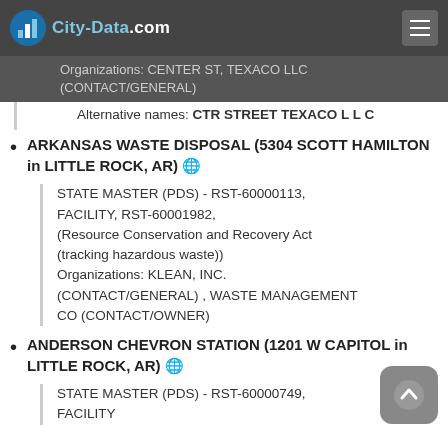City-Data.com
Organizations: CENTER ST, TEXACO LLC (CONTACT/GENERAL)
Alternative names: CTR STREET TEXACO L L C
ARKANSAS WASTE DISPOSAL (5304 SCOTT HAMILTON in LITTLE ROCK, AR)
STATE MASTER (PDS) - RST-60000113, FACILITY, RST-60001982, (Resource Conservation and Recovery Act (tracking hazardous waste)) Organizations: KLEAN, INC. (CONTACT/GENERAL) , WASTE MANAGEMENT CO (CONTACT/OWNER)
ANDERSON CHEVRON STATION (1201 W CAPITOL in LITTLE ROCK, AR)
STATE MASTER (PDS) - RST-60000749, FACILITY